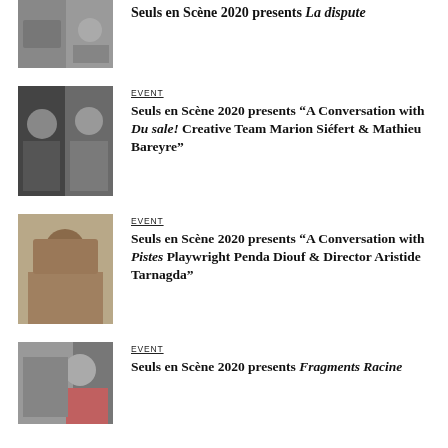[Figure (photo): Partial top entry photo, group scene]
Seuls en Scène 2020 presents La dispute
[Figure (photo): Two people portrait photos side by side]
EVENT
Seuls en Scène 2020 presents “A Conversation with Du sale! Creative Team Marion Siéfert & Mathieu Bareyre”
[Figure (photo): Portrait of a woman smiling]
EVENT
Seuls en Scène 2020 presents “A Conversation with Pistes Playwright Penda Diouf & Director Aristide Tarnagda”
[Figure (photo): Portrait of a woman in red]
EVENT
Seuls en Scène 2020 presents Fragments Racine